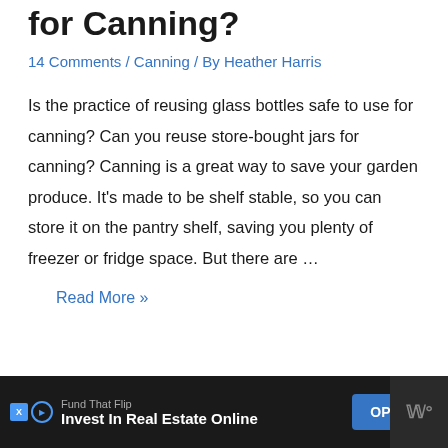for Canning?
14 Comments / Canning / By Heather Harris
Is the practice of reusing glass bottles safe to use for canning? Can you reuse store-bought jars for canning? Canning is a great way to save your garden produce. It's made to be shelf stable, so you can store it on the pantry shelf, saving you plenty of freezer or fridge space. But there are …
Read More »
Fund That Flip Invest In Real Estate Online OPEN